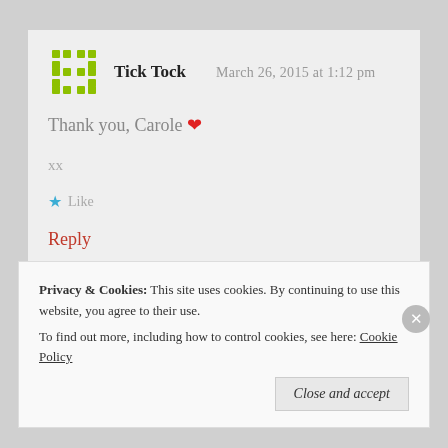[Figure (logo): Green pixel/grid pattern avatar icon for Tick Tock]
Tick Tock   March 26, 2015 at 1:12 pm
Thank you, Carole ❤
xx
★ Like
Reply
Privacy & Cookies:  This site uses cookies. By continuing to use this website, you agree to their use.
To find out more, including how to control cookies, see here: Cookie Policy
Close and accept